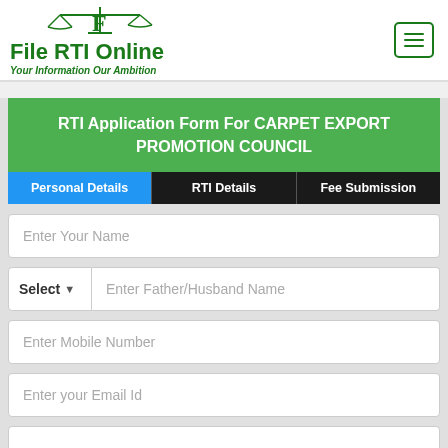[Figure (logo): File RTI Online logo with scales of justice icon, green text reading 'File RTI Online' and tagline 'Your Information Our Ambition']
RTI Application Form For CARPET EXPORT PROMOTION COUNCIL
Personal Details
RTI Details
Fee Submission
Enter Your Name
Select | Enter Father/Husband Name
Enter Mobile Number
Enter your Email Id